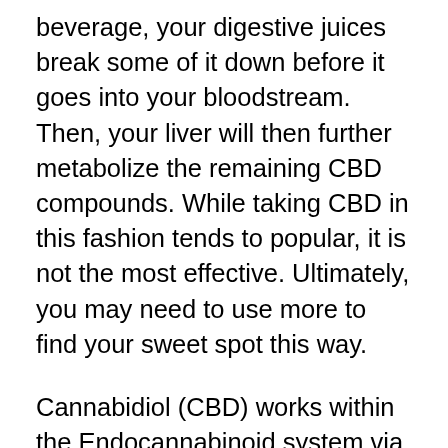beverage, your digestive juices break some of it down before it goes into your bloodstream. Then, your liver will then further metabolize the remaining CBD compounds. While taking CBD in this fashion tends to popular, it is not the most effective. Ultimately, you may need to use more to find your sweet spot this way.
Cannabidiol (CBD) works within the Endocannabinoid system via your bloodstream. It's purpose is to restore balance and make you healthier. When you ingest the oil sublingually, you are allowing your body to directly and immediately receive the benefits of CBD. As the CBD oil is held under your tongue, the blood rich sublingual membranes in the mouth help to absorb and deliver the